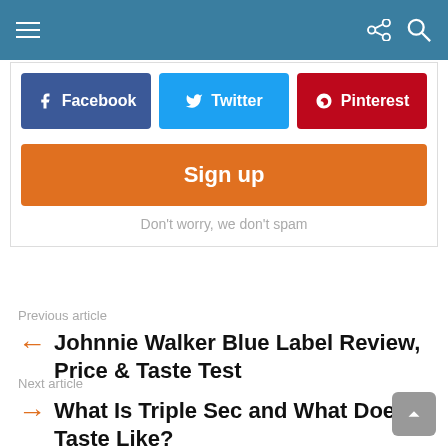Navigation bar with hamburger menu, share icon, and search icon
[Figure (screenshot): Social sharing buttons: Facebook (blue), Twitter (cyan), Pinterest (red)]
Sign up
Don't worry, we don't spam
Previous article
Johnnie Walker Blue Label Review, Price & Taste Test
Next article
What Is Triple Sec and What Does It Taste Like?